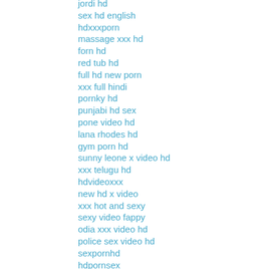jordi hd
sex hd english
hdxxxporn
massage xxx hd
forn hd
red tub hd
full hd new porn
xxx full hindi
pornky hd
punjabi hd sex
pone video hd
lana rhodes hd
gym porn hd
sunny leone x video hd
xxx telugu hd
hdvideoxxx
new hd x video
xxx hot and sexy
sexy video fappy
odia xxx video hd
police sex video hd
sexpornhd
hdpornsex